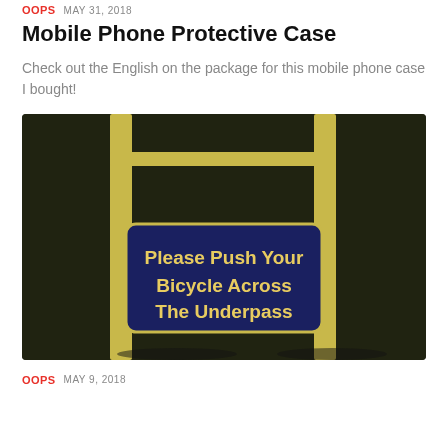OOPS  MAY 31, 2018
Mobile Phone Protective Case
Check out the English on the package for this mobile phone case I bought!
[Figure (photo): A street sign mounted on yellow metal poles reading 'Please Push Your Bicycle Across The Underpass' on a dark blue background, photographed at night.]
OOPS  MAY 9, 2018